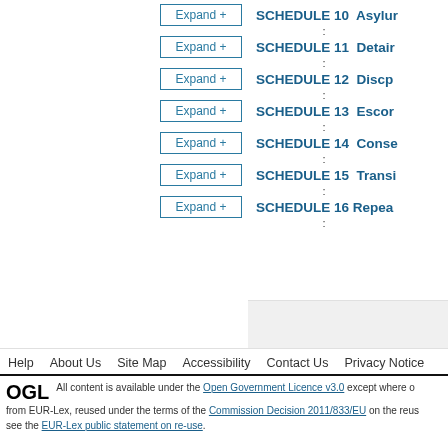Expand +   SCHEDULE 10  Asylum
Expand +   SCHEDULE 11  Detain
Expand +   SCHEDULE 12  Discip
Expand +   SCHEDULE 13  Escor
Expand +   SCHEDULE 14  Conse
Expand +   SCHEDULE 15  Transi
Expand +   SCHEDULE 16  Repea
Help   About Us   Site Map   Accessibility   Contact Us   Privacy Notice
All content is available under the Open Government Licence v3.0 except where otherwise noted. Content from EUR-Lex, reused under the terms of the Commission Decision 2011/833/EU on the reuse of documents, see the EUR-Lex public statement on re-use.